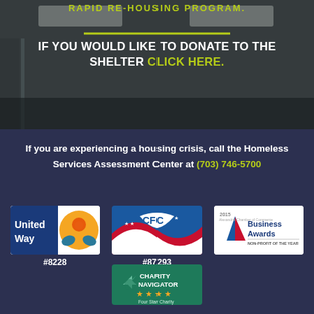[Figure (photo): Office interior background photo with dark overlay, green horizontal line and heading text about Rapid Re-Housing Program]
RAPID RE-HOUSING PROGRAM.
IF YOU WOULD LIKE TO DONATE TO THE SHELTER CLICK HERE.
If you are experiencing a housing crisis, call the Homeless Services Assessment Center at (703) 746-5700
[Figure (logo): United Way logo with #8228]
[Figure (logo): CFC (Combined Federal Campaign) logo with #87293]
[Figure (logo): 2015 Alexandria Chamber of Commerce Business Awards - Non-Profit of the Year]
[Figure (logo): Charity Navigator Four Star Charity logo]